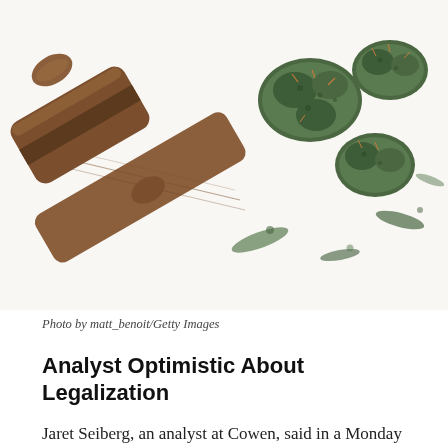[Figure (photo): A wooden judge's gavel lying on its side next to several cannabis/marijuana buds on a white background.]
Photo by matt_benoit/Getty Images
Analyst Optimistic About Legalization
Jaret Seiberg, an analyst at Cowen, said in a Monday note that it doesn’t matter what the president thinks about cannabis; if it reaches his desk, he’ll sign, reported Forbes.
“We believe there is too much focus on President